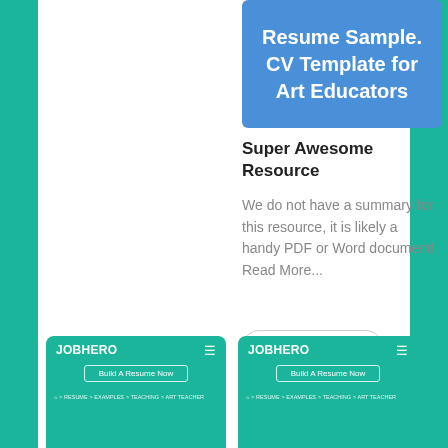[Figure (screenshot): Blue card with white bold text: Resume Sample. CV Template for Art Educators]
Super Awesome Resource
We do not have a summary for this resource, it is likely a handy PDF or Word document! Read More...
View resource
[Figure (screenshot): JobHero website card thumbnail showing Build A Resume Now button and breadcrumb navigation for Art Teacher]
Art Teacher Resume —
Art Teacher Resume
[Figure (screenshot): JobHero website card thumbnail showing Build A Resume Now button and breadcrumb navigation for Art Teacher]
Art Teacher Resume —
Art Teacher Resume